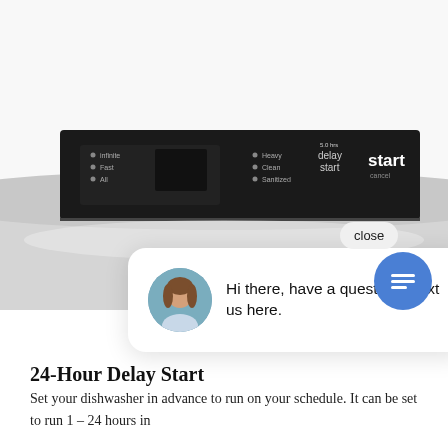[Figure (photo): Close-up photo of a dishwasher control panel, showing buttons and display, stainless steel appliance top, white background.]
[Figure (screenshot): Chat popup overlay showing a female avatar and text: 'Hi there, have a question? Text us here.' with a close button and blue floating chat icon.]
24-Hour Delay Start
Set your dishwasher in advance to run on your schedule. It can be set to run 1 - 24 hours in